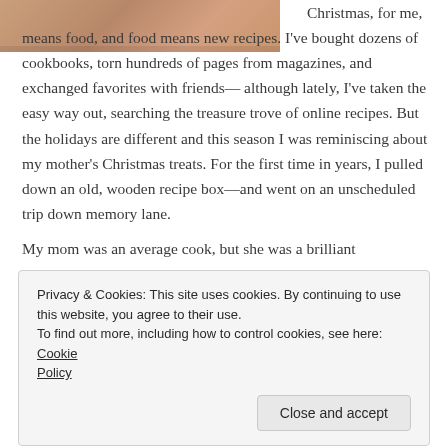[Figure (photo): Partial photo of hands or food, cropped at top of page, warm skin/food tones]
Christmas, for me, means food, and food means new recipes. I've bought dozens of cookbooks, torn hundreds of pages from magazines, and exchanged favorites with friends—although lately, I've taken the easy way out, searching the treasure trove of online recipes. But the holidays are different and this season I was reminiscing about my mother's Christmas treats. For the first time in years, I pulled down an old, wooden recipe box—and went on an unscheduled trip down memory lane.
My mom was an average cook, but she was a brilliant
Privacy & Cookies: This site uses cookies. By continuing to use this website, you agree to their use.
To find out more, including how to control cookies, see here: Cookie Policy
Close and accept
decorated with candied cherries and flattened gumdrops